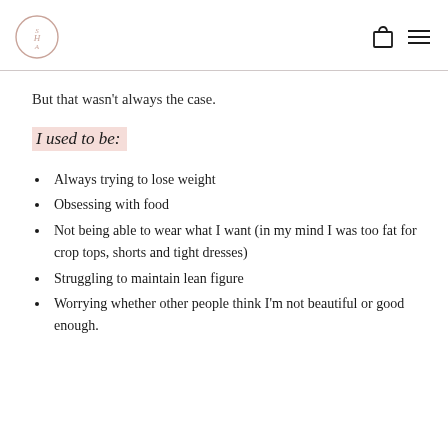HA logo, bag icon, hamburger menu
But that wasn't always the case.
I used to be:
Always trying to lose weight
Obsessing with food
Not being able to wear what I want (in my mind I was too fat for crop tops, shorts and tight dresses)
Struggling to maintain lean figure
Worrying whether other people think I'm not beautiful or good enough.